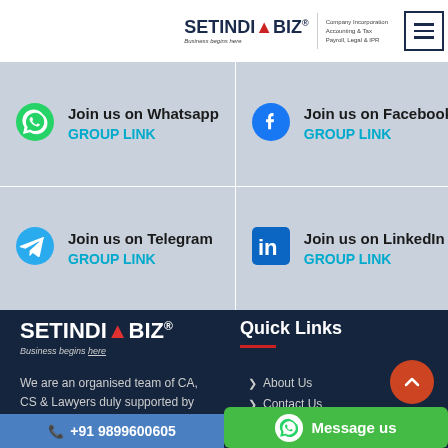[Figure (logo): SetIndiaBiz logo with tagline 'Business begins here' and company description, with hamburger menu icon]
Join us on Whatsapp
GROUP LINK
Join us on Facebook
GROUP LINK
Join us on Telegram
GROUP LINK
Join us on LinkedIn
GROUP LINK
[Figure (logo): SetIndiaBiz footer logo with tagline 'Business begins here']
We are an organised team of CA, CS & Lawyers duly supported by trained accountants & paralegals
Quick Links
About Us
Contact Us
+91 9899600605
Message us